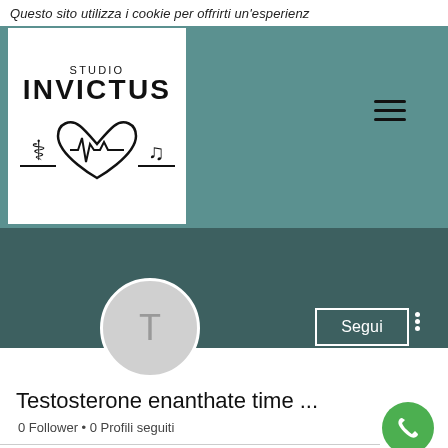Questo sito utilizza i cookie per offrirti un'esperienz
[Figure (logo): Studio Invictus logo: white box with text STUDIO INVICTUS, heart with ECG line, caduceus and stethoscope symbols]
[Figure (screenshot): Social media profile page for 'Testosterone enanthate time ...' with avatar showing T, Segui button, 0 Follower, 0 Profili seguiti, green phone button]
Testosterone enanthate time ...
0 Follower • 0 Profili seguiti